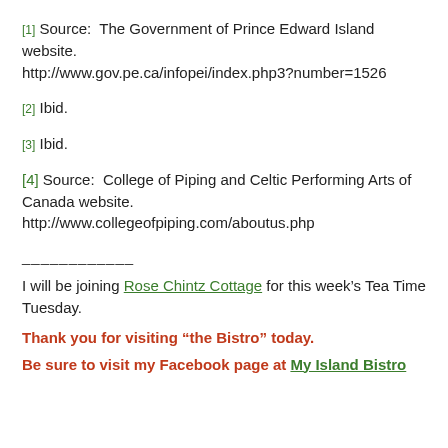[1] Source:  The Government of Prince Edward Island website. http://www.gov.pe.ca/infopei/index.php3?number=1526
[2] Ibid.
[3] Ibid.
[4] Source:  College of Piping and Celtic Performing Arts of Canada website. http://www.collegeofpiping.com/aboutus.php
I will be joining Rose Chintz Cottage for this week’s Tea Time Tuesday.
Thank you for visiting “the Bistro” today.
Be sure to visit my Facebook page at My Island Bistro